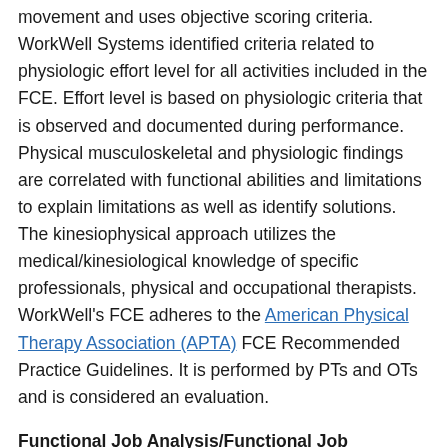movement and uses objective scoring criteria. WorkWell Systems identified criteria related to physiologic effort level for all activities included in the FCE. Effort level is based on physiologic criteria that is observed and documented during performance. Physical musculoskeletal and physiologic findings are correlated with functional abilities and limitations to explain limitations as well as identify solutions. The kinesiophysical approach utilizes the medical/kinesiological knowledge of specific professionals, physical and occupational therapists. WorkWell's FCE adheres to the American Physical Therapy Association (APTA) FCE Recommended Practice Guidelines. It is performed by PTs and OTs and is considered an evaluation.
Functional Job Analysis/Functional Job Descriptions (FJA/FJD)